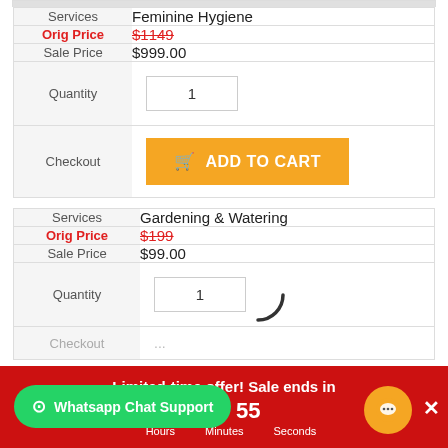| Services | Feminine Hygiene |
| --- | --- |
| Orig Price | $1149 (strikethrough) |
| Sale Price | $999.00 |
| Quantity | 1 |
| Checkout | ADD TO CART |
| Services | Gardening & Watering |
| --- | --- |
| Orig Price | $199 (strikethrough) |
| Sale Price | $99.00 |
| Quantity | 1 |
| Checkout |  |
Limited-time offer! Sale ends in 59 Hours 55 Minutes Seconds
Whatsapp Chat Support